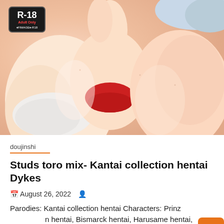[Figure (illustration): Anime/manga illustration showing multiple female characters in swimwear with close-up composition. An R-18 Adult Only badge is visible in the upper left corner.]
doujinshi
Studs toro mix- Kantai collection hentai Dykes
August 26, 2022
Parodies: Kantai collection hentai Characters: Prinz Eugen hentai, Bismarck hentai, Harusame hentai, Akizuki hentai